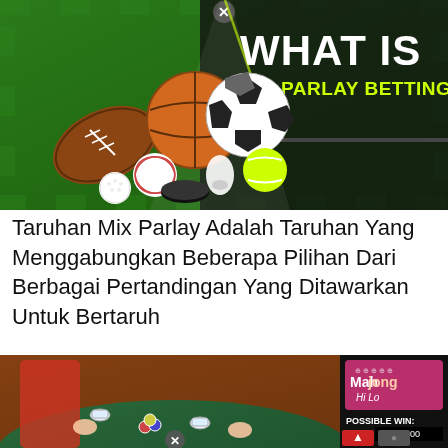[Figure (illustration): Sports betting banner showing multiple sports balls (football, basketball, soccer ball, baseball, golf ball, hockey puck, shuttlecock, tennis ball) on a green grass field background with text 'WHAT IS MIX PARLAY BETTING?' in white and yellow on dark green overlay. Close button X in top center.]
Taruhan Mix Parlay Adalah Taruhan Yang Menggabungkan Beberapa Pilihan Dari Berbagai Pertandingan Yang Ditawarkan Untuk Bertaruh
[Figure (screenshot): Mahjong Hi Lo casino game screenshot showing animated characters seated around a mahjong table with chips, tea cups, and game pieces. Pink diamond logo with 'Mahjong Hi Lo' text, 'POSSIBLE WIN: 0.00' display, and game control buttons on right side. Close button X at bottom center.]